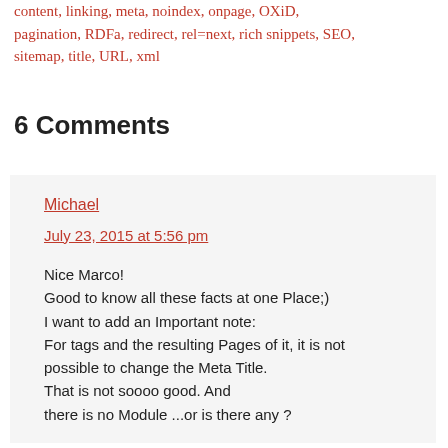content, linking, meta, noindex, onpage, OXiD, pagination, RDFa, redirect, rel=next, rich snippets, SEO, sitemap, title, URL, xml
6 Comments
Michael
July 23, 2015 at 5:56 pm

Nice Marco!
Good to know all these facts at one Place;)
I want to add an Important note:
For tags and the resulting Pages of it, it is not possible to change the Meta Title.
That is not soooo good. And
there is no Module ...or is there any ?